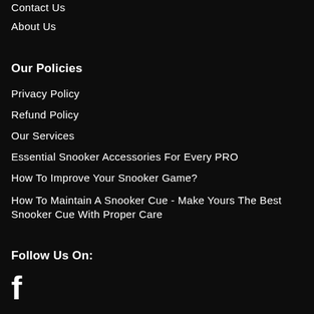Contact Us
About Us
Our Policies
Privacy Policy
Refund Policy
Our Services
Essential Snooker Accessories For Every PRO
How To Improve Your Snooker Game?
How To Maintain A Snooker Cue - Make Yours The Best Snooker Cue With Proper Care
Follow Us On:
[Figure (logo): Facebook logo icon - white letter f on dark background]